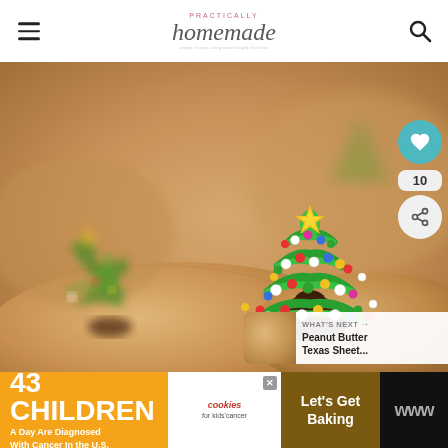Practically Homemade
[Figure (photo): Close-up photo of peanut butter blossoms cookies decorated with Christmas tree frosting made of green icing swirled to look like trees with colorful sprinkle ornaments and a gold star on top, sitting on top of chocolate kiss bases on the cookies.]
WHAT'S NEXT → Peanut Butter Texas Sheet...
43 CHILDREN A Day Are Diagnosed With Cancer In the U.S.
[Figure (logo): cookies for kids' cancer logo]
Let's Get Baking